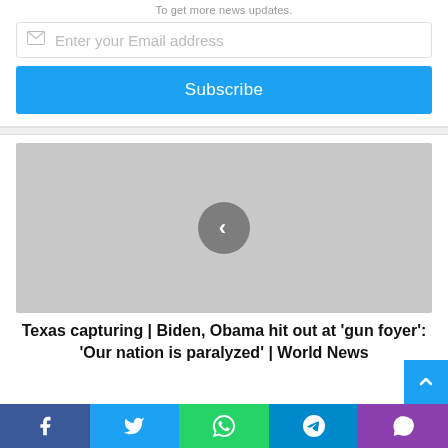To get more news updates.
Enter your Email address
Subscribe
[Figure (screenshot): Gray image placeholder with a left navigation arrow button (chevron left) in the center]
Texas capturing | Biden, Obama hit out at 'gun foyer': 'Our nation is paralyzed' | World News